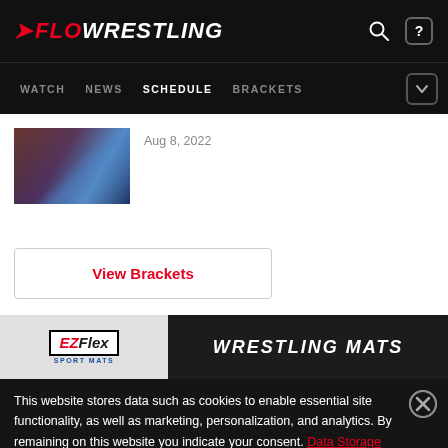FLOWRESTLING — WATCH | NEWS | SCHEDULE | BRACKETS
[Figure (screenshot): Article thumbnail showing wrestlers competing, dated Aug 8, 2022]
Aug 8, 2022
View Brackets
[Figure (other): EZ Flex Sport Mats advertisement banner — WRESTLING MATS]
This website stores data such as cookies to enable essential site functionality, as well as marketing, personalization, and analytics. By remaining on this website you indicate your consent. Data Storage Policy